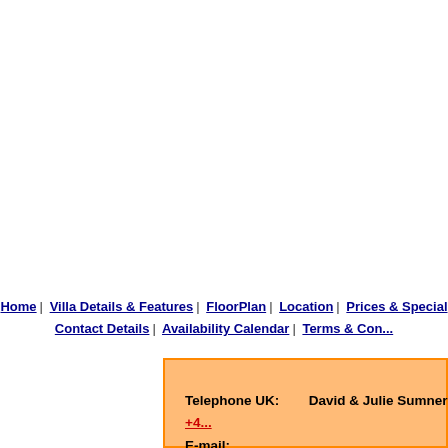Home | Villa Details & Features | FloorPlan | Location | Prices & Special | Contact Details | Availability Calendar | Terms & Co...
Telephone UK: David & Julie Sumner +4...
E-mail: info@floridatuscanvilla.c...